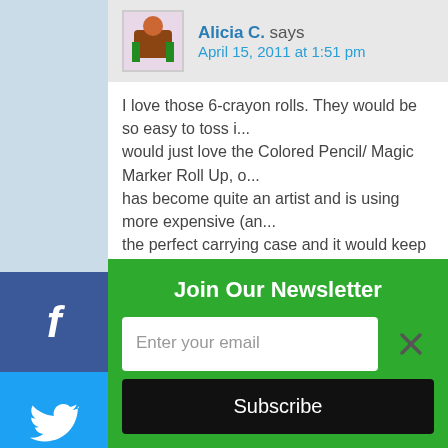[Figure (infographic): Social media sharing sidebar with Facebook, Twitter, LinkedIn, Pinterest, and Reddit buttons]
Alicia C. says
April 15, 2011 at 1:51 pm
I love those 6-crayon rolls. They would be so easy to toss in would just love the Colored Pencil/ Magic Marker Roll Up, has become quite an artist and is using more expensive (an the perfect carrying case and it would keep the pencils safe ohmiss14 at yahoo dot com
Alicia C. says
April 15, 2011 at 1:52 pm
I'm a GFC follower
ohmiss14 at yahoo dot com
Join Our Newsletter
Enter your email
Subscribe